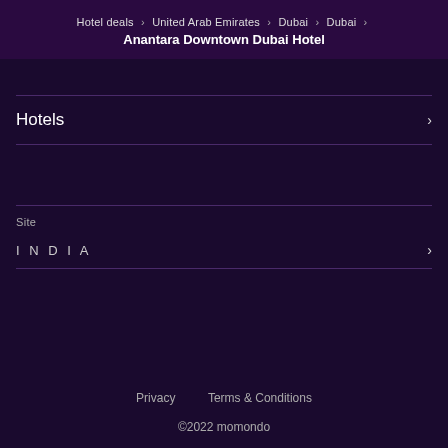Hotel deals > United Arab Emirates > Dubai > Dubai > Anantara Downtown Dubai Hotel
Hotels
Site
INDIA
Privacy   Terms & Conditions
©2022 momondo